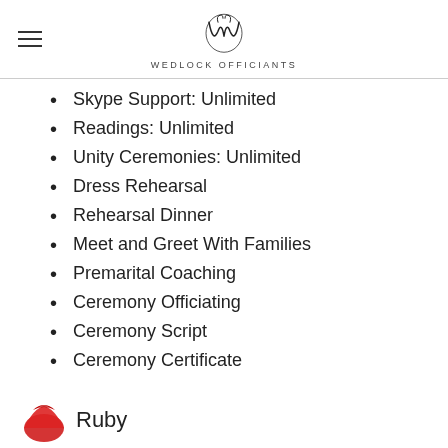WEDLOCK OFFICIANTS
Skype Support: Unlimited
Readings: Unlimited
Unity Ceremonies: Unlimited
Dress Rehearsal
Rehearsal Dinner
Meet and Greet With Families
Premarital Coaching
Ceremony Officiating
Ceremony Script
Ceremony Certificate
Ruby